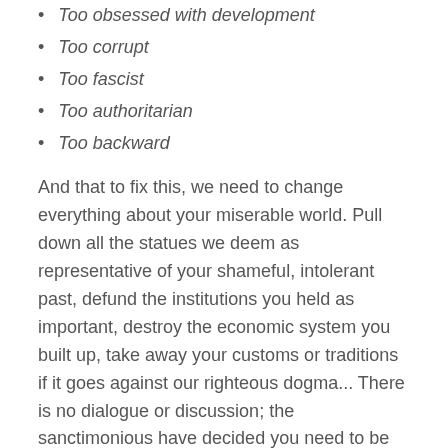Too obsessed with development
Too corrupt
Too fascist
Too authoritarian
Too backward
And that to fix this, we need to change everything about your miserable world. Pull down all the statues we deem as representative of your shameful, intolerant past, defund the institutions you held as important, destroy the economic system you built up, take away your customs or traditions if it goes against our righteous dogma... There is no dialogue or discussion; the sanctimonious have decided you need to be fixed ... but first they call you names and try to destroy your property.